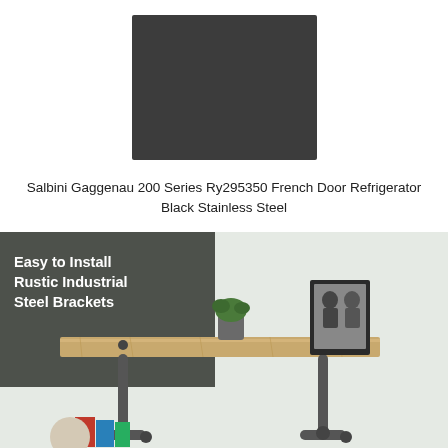[Figure (photo): Dark grayish-black rectangular panel, product image of a refrigerator door in Black Stainless Steel finish]
Salbini Gaggenau 200 Series Ry295350 French Door Refrigerator Black Stainless Steel
[Figure (photo): Photo of a rustic industrial wooden shelf mounted on a wall with pipe steel brackets. Text overlay reads 'Easy to Install Rustic Industrial Steel Brackets'. Shelf displays a potted plant and framed photos. Below the shelf are books and decorative items.]